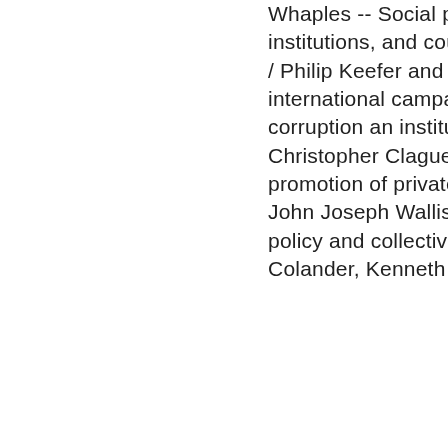Whaples -- Social polarization, political institutions, and country creditworthiness / Philip Keefer and Stephen Knack -- The international campaign against corruption an institutionalist perspective / Christopher Clague -- The public promotion of private interest (groups) / John Joseph Wallis -- Macroeconomic policy and collective action / David C. Colander, Kenneth J. Koford and